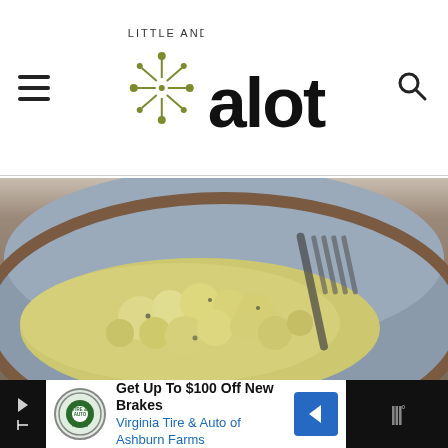A Little and A Lot
[Figure (logo): Website logo with asterisk/starburst icon in olive green and text 'a little and a lot' in two lines]
[Figure (photo): Close-up photo of creamy risotto or macaroni and cheese on a grey plate with a fork in the background]
[Figure (screenshot): Advertisement banner: Get Up To $100 Off New Brakes - Virginia Tire & Auto of Ashburn Farms, with tire and auto logo and blue arrow sign]